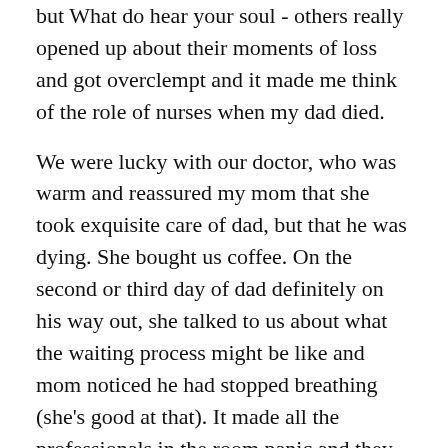but What do hear your soul - others really opened up about their moments of loss and got overclempt and it made me think of the role of nurses when my dad died.
We were lucky with our doctor, who was warm and reassured my mom that she took exquisite care of dad, but that he was dying. She bought us coffee. On the second or third day of dad definitely on his way out, she talked to us about what the waiting process might be like and mom noticed he had stopped breathing (she's good at that). It made all the professionals in the room panic and they checked his pulse and told us to come forward. It was one of those rare times where my mom and cried at the same time.
Afterwards, we stayed in the room with him for a while. I had already begun funeral arrangements so there wasn't much to do. We decided to go eat. Hospice called and I said “thanks you're too late” but in a nice way. I swear.